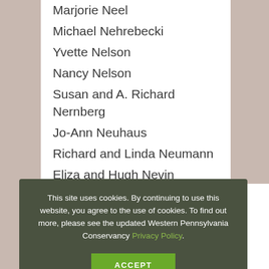Marjorie Neel
Michael Nehrebecki
Yvette Nelson
Nancy Nelson
Susan and A. Richard Nernberg
Jo-Ann Neuhaus
Richard and Linda Neumann
Eliza and Hugh Nevin
…man
…d Ms. Alice C. H…
…ls
…kell
…ld Williams
…er
Paul Nielsen
This site uses cookies. By continuing to use this website, you agree to the use of cookies. To find out more, please see the updated Western Pennsylvania Conservancy Privacy Policy.
ACCEPT